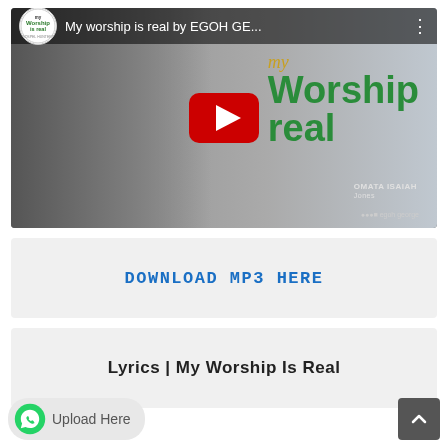[Figure (screenshot): YouTube video thumbnail for 'My worship is real by EGOH GE...' showing a man in a plaid shirt with green and red text overlay reading 'my Worship real' with YouTube play button]
DOWNLOAD MP3 HERE
Lyrics | My Worship Is Real
Upload Here